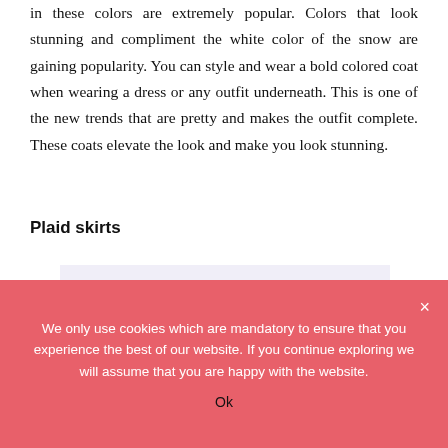in these colors are extremely popular. Colors that look stunning and compliment the white color of the snow are gaining popularity. You can style and wear a bold colored coat when wearing a dress or any outfit underneath. This is one of the new trends that are pretty and makes the outfit complete. These coats elevate the look and make you look stunning.
Plaid skirts
[Figure (photo): Photo of a person wearing a white long-sleeve top and a pink plaid mini skirt, cropped to show torso and skirt area.]
We only use cookies which are mandatory to ensure that you experience the best of our website. If you continue exploring we will assume that you are happy with the website.
Ok